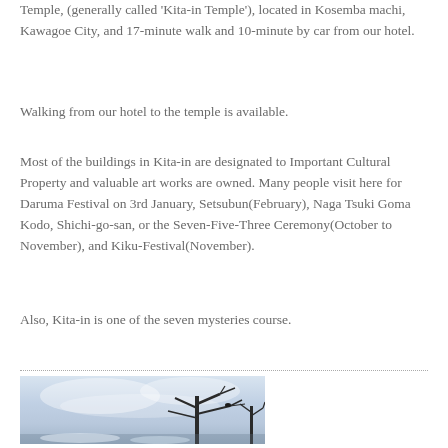Temple, (generally called 'Kita-in Temple'), located in Kosemba machi, Kawagoe City, and 17-minute walk and 10-minute by car from our hotel.
Walking from our hotel to the temple is available.
Most of the buildings in Kita-in are designated to Important Cultural Property and valuable art works are owned. Many people visit here for Daruma Festival on 3rd January, Setsubun(February), Naga Tsuki Goma Kodo, Shichi-go-san, or the Seven-Five-Three Ceremony(October to November), and Kiku-Festival(November).
Also, Kita-in is one of the seven mysteries course.
[Figure (photo): Photo of bare winter trees against a light blue/grey sky, partial view]